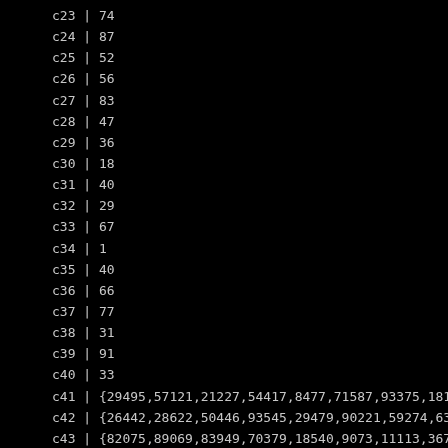c23 | 74
c24 | 87
c25 | 52
c26 | 56
c27 | 83
c28 | 47
c29 | 36
c30 | 18
c31 | 40
c32 | 29
c33 | 67
c34 | 1
c35 | 40
c36 | 66
c37 | 77
c38 | 31
c39 | 91
c40 | 33
c41 | {29495,57121,21227,54417,8477,71587,93375,18150,13
c42 | {26442,28622,50446,93545,29479,90221,59274,6384,21
c43 | {82075,89069,83949,70379,18540,9073,11113,3676,170